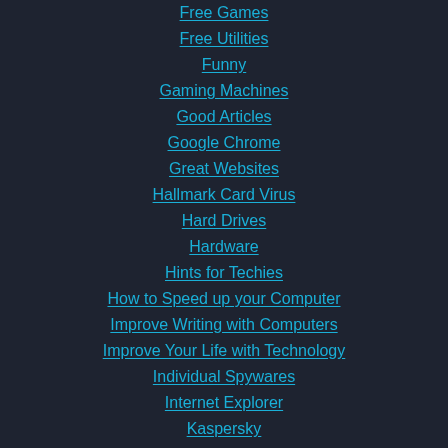Free Games
Free Utilities
Funny
Gaming Machines
Good Articles
Google Chrome
Great Websites
Hallmark Card Virus
Hard Drives
Hardware
Hints for Techies
How to Speed up your Computer
Improve Writing with Computers
Improve Your Life with Technology
Individual Spywares
Internet Explorer
Kaspersky
Keyloggers